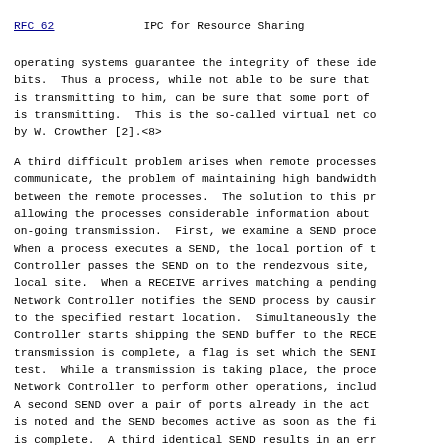RFC 62    IPC for Resource Sharing
operating systems guarantee the integrity of these ide bits.  Thus a process, while not able to be sure that is transmitting to him, can be sure that some port of is transmitting.  This is the so-called virtual net co by W. Crowther [2].<8>
A third difficult problem arises when remote processes communicate, the problem of maintaining high bandwidth between the remote processes.  The solution to this pr allowing the processes considerable information about on-going transmission.  First, we examine a SEND proce When a process executes a SEND, the local portion of t Controller passes the SEND on to the rendezvous site, local site.  When a RECEIVE arrives matching a pending Network Controller notifies the SEND process by causir to the specified restart location.  Simultaneously the Controller starts shipping the SEND buffer to the RECE transmission is complete, a flag is set which the SENI test.  While a transmission is taking place, the proce Network Controller to perform other operations, includ A second SEND over a pair of ports already in the act is noted and the SEND becomes active as soon as the fi is complete.  A third identical SEND results in an err the SENDing process.  Next, we examine a RECEIVE proce When a process executes a RECEIVE, the RECEIVE is sent rendezvous site.  When data resultant from this RECEI